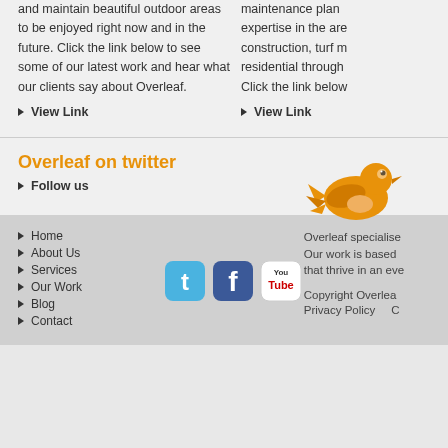and maintain beautiful outdoor areas to be enjoyed right now and in the future. Click the link below to see some of our latest work and hear what our clients say about Overleaf.
View Link
maintenance plan expertise in the area construction, turf m residential through Click the link below
View Link
Overleaf on twitter
Follow us
[Figure (illustration): Orange Twitter bird logo]
Home
About Us
Services
Our Work
Blog
Contact
[Figure (logo): Twitter, Facebook, and YouTube social media icons]
Overleaf specialise Our work is based that thrive in an eve
Copyright Overlea
Privacy Policy    C